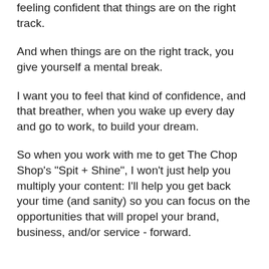feeling confident that things are on the right track.
And when things are on the right track, you give yourself a mental break.
I want you to feel that kind of confidence, and that breather, when you wake up every day and go to work, to build your dream.
So when you work with me to get The Chop Shop's "Spit + Shine", I won't just help you multiply your content: I'll help you get back your time (and sanity) so you can focus on the opportunities that will propel your brand, business, and/or service - forward.